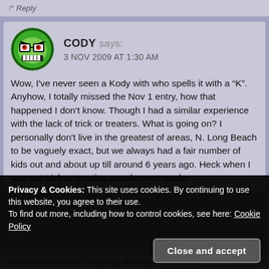Reply
CODY says:
3 NOV 2009 AT 1:30 AM
Wow, I've never seen a Kody with who spells it with a “K”. Anyhow, I totally missed the Nov 1 entry, how that happened I don't know. Though I had a similar experience with the lack of trick or treaters. What is going on? I personally don't live in the greatest of areas, N. Long Beach to be vaguely exact, but we always had a fair number of kids out and about up till around 6 years ago. Heck when I was out trick or treating people even made decoration, and then I'd casually stand up behind them.
Privacy & Cookies: This site uses cookies. By continuing to use this website, you agree to their use.
To find out more, including how to control cookies, see here: Cookie Policy
Close and accept